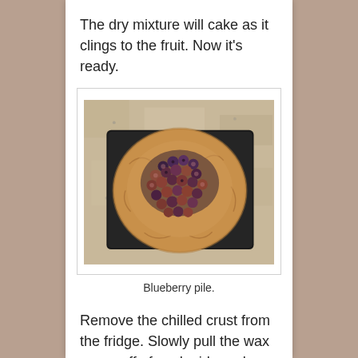The dry mixture will cake as it clings to the fruit. Now it's ready.
[Figure (photo): A flat pie crust laid out on a dark baking tray on a granite countertop, with a pile of blueberries coated in a dry mixture piled in the center of the crust.]
Blueberry pile.
Remove the chilled crust from the fridge. Slowly pull the wax paper off of each side and place the crust in